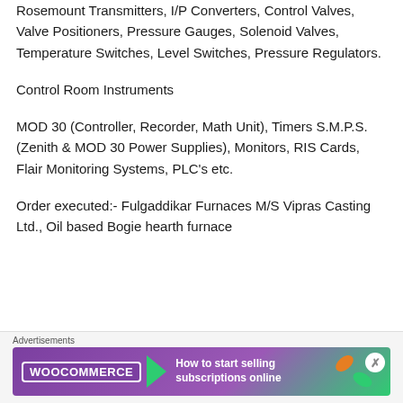Rosemount Transmitters, I/P Converters, Control Valves, Valve Positioners, Pressure Gauges, Solenoid Valves, Temperature Switches, Level Switches, Pressure Regulators.
Control Room Instruments
MOD 30 (Controller, Recorder, Math Unit), Timers S.M.P.S. (Zenith & MOD 30 Power Supplies), Monitors, RIS Cards, Flair Monitoring Systems, PLC's etc.
Order executed:- Fulgaddikar Furnaces M/S Vipras Casting Ltd., Oil based Bogie hearth furnace
[Figure (other): WooCommerce advertisement banner: 'How to start selling subscriptions online']